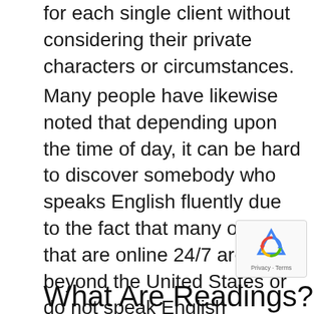for each single client without considering their private characters or circumstances.
Many people have likewise noted that depending upon the time of day, it can be hard to discover somebody who speaks English fluently due to the fact that many of them that are online 24/7 are beyond the United States or do not speak English extremely well. Meaning that you will be better off trying to find a numerologist at night instead of in the morning. If you require someone who will talk with you in English, it might be better to utilize an Astrology site like www.astropros.
What Are Readings?